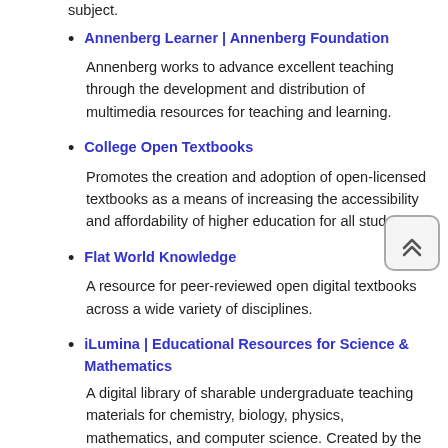subject.
Annenberg Learner | Annenberg Foundation — Annenberg works to advance excellent teaching through the development and distribution of multimedia resources for teaching and learning.
College Open Textbooks — Promotes the creation and adoption of open-licensed textbooks as a means of increasing the accessibility and affordability of higher education for all students.
Flat World Knowledge — A resource for peer-reviewed open digital textbooks across a wide variety of disciplines.
iLumina | Educational Resources for Science & Mathematics — A digital library of sharable undergraduate teaching materials for chemistry, biology, physics, mathematics, and computer science. Created by the NSDL, iLumina is designed to connect users with the educational resources they need. Resources range from highly granular objects (e.g., individual images and video clips) to entire courses.
Intech Open — The first native scientific publisher of Open Access books.